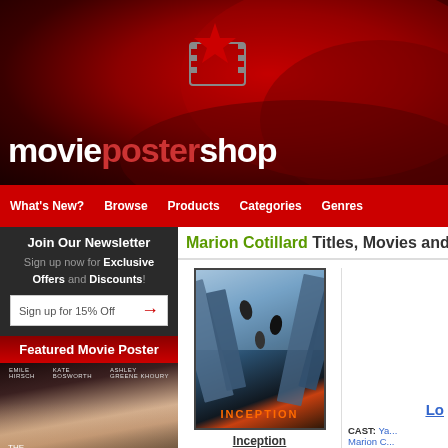moviepostershop
What's New? Browse Products Categories Genres
Join Our Newsletter
Sign up now for Exclusive Offers and Discounts!
Sign up for 15% Off
Featured Movie Poster
[Figure (photo): The Immaculate Room movie poster with close-up of two faces]
Marion Cotillard Titles, Movies and...
[Figure (photo): Inception movie poster showing people on tilted city buildings]
Inception
CAST: Christopher Nolan, Leonardo DiCaprio, Ken Watanabe, Joseph Gordon-
Lo...
CAST: Ya... Marion C... s...